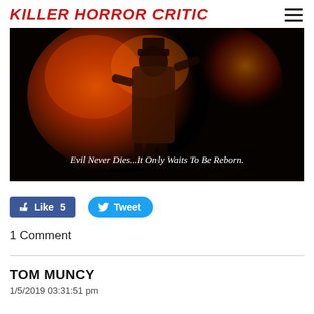KILLER HORROR CRITIC
[Figure (photo): Horror movie poster with dark background, orange/red fiery silhouette of a figure, text reads 'Evil Never Dies...It Only Waits To Be Reborn.']
[Figure (infographic): Facebook Like button showing 'Like 5' and Twitter Tweet button]
1 Comment
TOM MUNCY
1/5/2019 03:31:51 pm